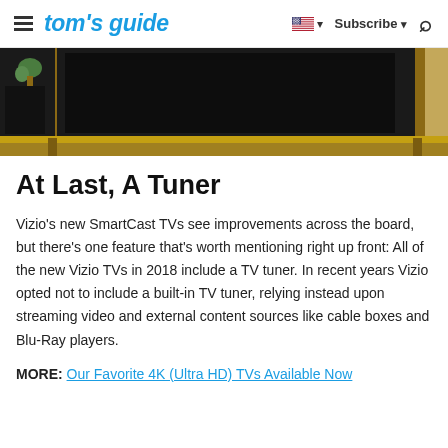tom's guide | Subscribe | Search
[Figure (photo): Photo of a TV mounted in a wooden media console, dark screen visible, with a small plant on the left]
At Last, A Tuner
Vizio's new SmartCast TVs see improvements across the board, but there's one feature that's worth mentioning right up front: All of the new Vizio TVs in 2018 include a TV tuner. In recent years Vizio opted not to include a built-in TV tuner, relying instead upon streaming video and external content sources like cable boxes and Blu-Ray players.
MORE: Our Favorite 4K (Ultra HD) TVs Available Now